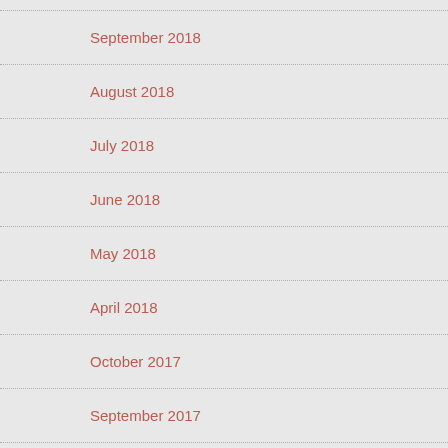September 2018
August 2018
July 2018
June 2018
May 2018
April 2018
October 2017
September 2017
July 2017
June 2017